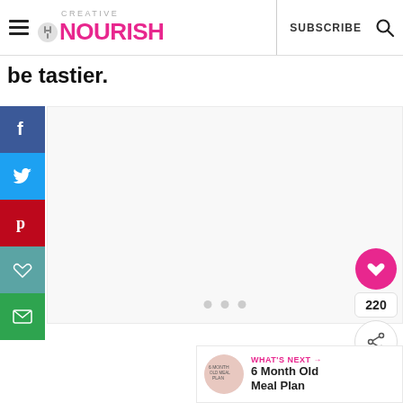CREATIVE NOURISH | SUBSCRIBE
be tastier.
[Figure (screenshot): Social media sharing sidebar with Facebook, Twitter, Pinterest, Save, and Email buttons on the left side]
[Figure (other): Content/ad placeholder area with three dots at bottom]
[Figure (other): Floating action buttons: pink heart favorite button, count 220, and share button on the right side]
WHAT'S NEXT → 6 Month Old Meal Plan